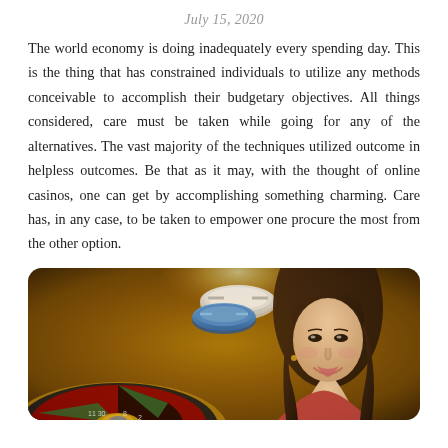July 15, 2020
The world economy is doing inadequately every spending day. This is the thing that has constrained individuals to utilize any methods conceivable to accomplish their budgetary objectives. All things considered, care must be taken while going for any of the alternatives. The vast majority of the techniques utilized outcome in helpless outcomes. Be that as it may, with the thought of online casinos, one can get by accomplishing something charming. Care has, in any case, to be taken to empower one procure the most from the other option.
[Figure (photo): Casino scene showing a roulette wheel in the foreground and casino chips, with a young Asian woman smiling in the background, warm golden casino lighting]